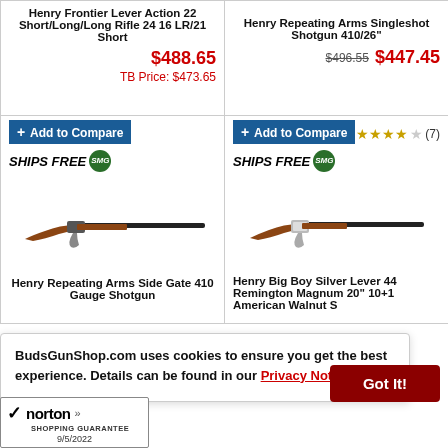Henry Frontier Lever Action 22 Short/Long/Long Rifle 24 16 LR/21 Short
$488.65 TB Price: $473.65
Henry Repeating Arms Singleshot Shotgun 410/26"
$496.55  $447.45
+ Add to Compare
SHIPS FREE SMG
+ Add to Compare
SHIPS FREE SMG ★★★★☆ (7)
[Figure (photo): Henry lever action rifle, brown wood stock, long barrel, left profile]
[Figure (photo): Henry Big Boy Silver lever action rifle, brown wood stock, silver receiver, left profile]
Henry Repeating Arms Side Gate 410 Gauge Shotgun
Henry Big Boy Silver Lever 44 Remington Magnum 20" 10+1 American Walnut S
BudsGunShop.com uses cookies to ensure you get the best experience. Details can be found in our Privacy Notice.
Got It!
norton SHOPPING GUARANTEE 9/5/2022